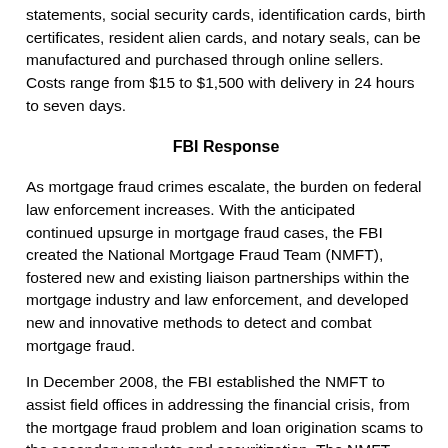statements, social security cards, identification cards, birth certificates, resident alien cards, and notary seals, can be manufactured and purchased through online sellers. Costs range from $15 to $1,500 with delivery in 24 hours to seven days.
FBI Response
As mortgage fraud crimes escalate, the burden on federal law enforcement increases. With the anticipated continued upsurge in mortgage fraud cases, the FBI created the National Mortgage Fraud Team (NMFT), fostered new and existing liaison partnerships within the mortgage industry and law enforcement, and developed new and innovative methods to detect and combat mortgage fraud.
In December 2008, the FBI established the NMFT to assist field offices in addressing the financial crisis, from the mortgage fraud problem and loan origination scams to the secondary markets and securitization. The NMFT provides tools to identify the most egregious mortgage fraud perpetrators, prioritizes investigative efforts, and provides information to evaluate resource needs. For example, the FBI began implementing the DOJ's Strike Force Approach to mortgage fraud wherein DOJ trial attorneys were detailed to the FBI Las Vegas Field Office to collaborate with